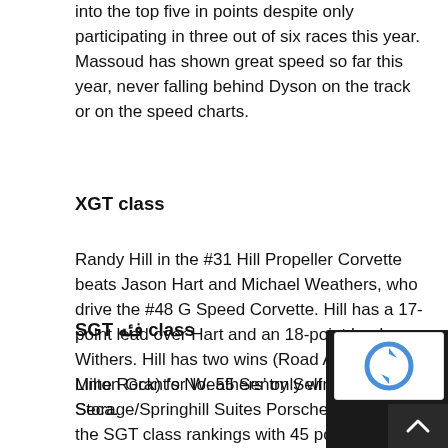into the top five in points despite only participating in three out of six races this year. Massoud has shown great speed so far this year, never falling behind Dyson on the track or on the speed charts.
XGT class
Randy Hill in the #31 Hill Propeller Corvette beats Jason Hart and Michael Weathers, who drive the #48 G Speed Corvette. Hill has a 17-point lead over Hart and an 18-point lead over Withers. Hill has two wins (Road Atlanta and Lime Rock) for Weathers’ only win at Laguna Seca.
SGT فئه class
Milton Grant’s No. 55 Sentry Self Storage/Springhill Suites Porsche 991.1 tops the SGT class rankings with 45 points, but Dirk Leuenberger’s No. 25 Luxe Performance Dodge Viper and Cindy Lux’s No. 25. 45 BlackRock Coffee Dodge Viper are both within walking distance. Close with 37 p and 35 points, respectively. Leuenberger and Lux have